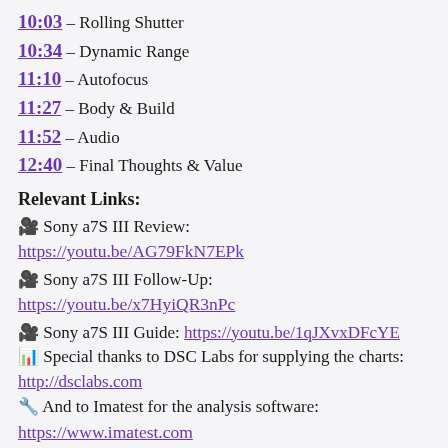10:03 – Rolling Shutter
10:34 – Dynamic Range
11:10 – Autofocus
11:27 – Body & Build
11:52 – Audio
12:40 – Final Thoughts & Value
Relevant Links:
🎥 Sony a7S III Review:
https://youtu.be/AG79FkN7EPk
🎥 Sony a7S III Follow-Up:
https://youtu.be/x7HyiQR3nPc
🎥 Sony a7S III Guide: https://youtu.be/1qJXvxDFcYE
📊 Special thanks to DSC Labs for supplying the charts: http://dsclabs.com
🔧 And to Imatest for the analysis software:
https://www.imatest.com